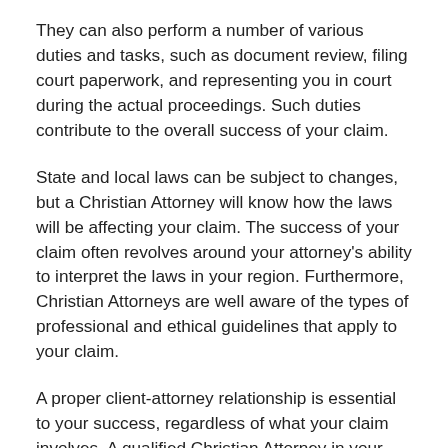They can also perform a number of various duties and tasks, such as document review, filing court paperwork, and representing you in court during the actual proceedings. Such duties contribute to the overall success of your claim.
State and local laws can be subject to changes, but a Christian Attorney will know how the laws will be affecting your claim. The success of your claim often revolves around your attorney's ability to interpret the laws in your region. Furthermore, Christian Attorneys are well aware of the types of professional and ethical guidelines that apply to your claim.
A proper client-attorney relationship is essential to your success, regardless of what your claim involves. A qualified Christian Attorney in your area can inform you of how your religious and moral outlooks may affect your legal options.
How Can a Havre Christian